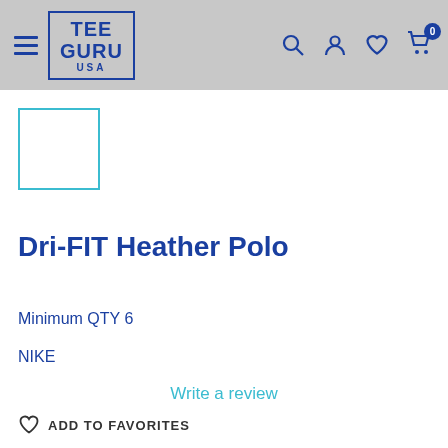[Figure (logo): TEE GURU USA logo in blue with border, hamburger menu, and navigation icons (search, account, heart, cart with 0 badge) on grey header]
[Figure (illustration): Product thumbnail placeholder — white square with cyan/teal border]
Dri-FIT Heather Polo
Minimum QTY 6
NIKE
Write a review
ADD TO FAVORITES